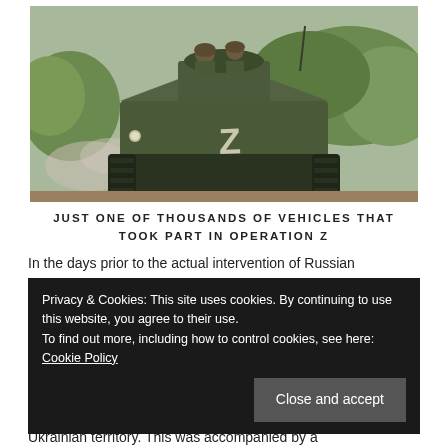[Figure (photo): A military armored vehicle (BMP) with a Z marking on the front hull, moving along a dirt road. Soldiers are visible on top. Green vegetation is visible in the background. The vehicle is olive/dark green colored.]
JUST ONE OF THOUSANDS OF VEHICLES THAT TOOK PART IN OPERATION Z
In the days prior to the actual intervention of Russian
Privacy & Cookies: This site uses cookies. By continuing to use this website, you agree to their use.
To find out more, including how to control cookies, see here: Cookie Policy
Close and accept
Ukrainian territory. This was accompanied by a